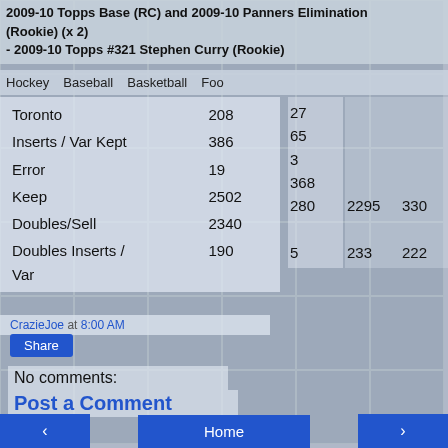2009-10 Topps Base (RC) and 2009-10 Panners Elimination (Rookie) (x 2)
- 2009-10 Topps #321 Stephen Curry (Rookie)
Hockey   Baseball   Basketball   Foo
|  | Toronto |  |
| --- | --- | --- |
| Toronto | 208 | 27 |
| Inserts / Var Kept | 386 | 65 |
| Error | 19 | 3 |
| Keep | 2502 | 368 |
| Doubles/Sell | 2340 | 280 | 2295 | 330 |
| Doubles Inserts / Var | 190 | 5 | 233 | 222 |
CrazieJoe at 8:00 AM
Share
No comments:
Post a Comment
Home